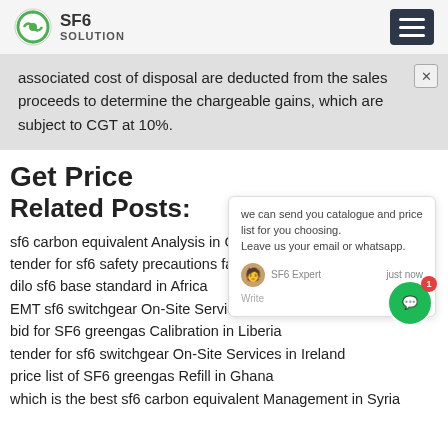SF6 SOLUTION
associated cost of disposal are deducted from the sales proceeds to determine the chargeable gains, which are subject to CGT at 10%.
Get Price
Related Posts:
sf6 carbon equivalent Analysis in Gabon
tender for sf6 safety precautions fac...
dilo sf6 base standard in Africa
EMT sf6 switchgear On-Site Services in Zambia
bid for SF6 greengas Calibration in Liberia
tender for sf6 switchgear On-Site Services in Ireland
price list of SF6 greengas Refill in Ghana
which is the best sf6 carbon equivalent Management in Syria